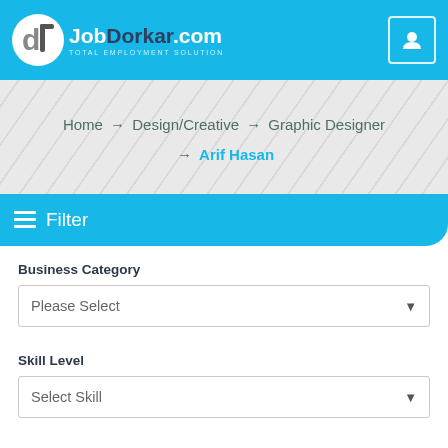JobDorkar.com – TOTAL EMPLOYMENT SOLUTION
Home → Design/Creative → Graphic Designer → Arif Hasan
≡ Filter
Business Category
Please Select
Skill Level
Select Skill